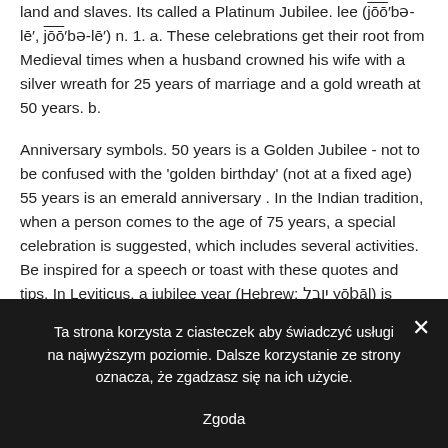land and slaves. Its called a Platinum Jubilee. lee (jōō′bə-lē′, jōō′bə-lē′) n. 1. a. These celebrations get their root from Medieval times when a husband crowned his wife with a silver wreath for 25 years of marriage and a gold wreath at 50 years. b.
Anniversary symbols. 50 years is a Golden Jubilee - not to be confused with the 'golden birthday' (not at a fixed age) 55 years is an emerald anniversary . In the Indian tradition, when a person comes to the age of 75 years, a special celebration is suggested, which includes several activities. Be inspired for a speech or toast with these quotes and tips. In Leviticus, a jubilee year (Hebrew: יובל yōḇāl) is mentioned to occur every 50th
Ta strona korzysta z ciasteczek aby świadczyć usługi na najwyższym poziomie. Dalsze korzystanie ze strony oznacza, że zgadzasz się na ich użycie.
Zgoda